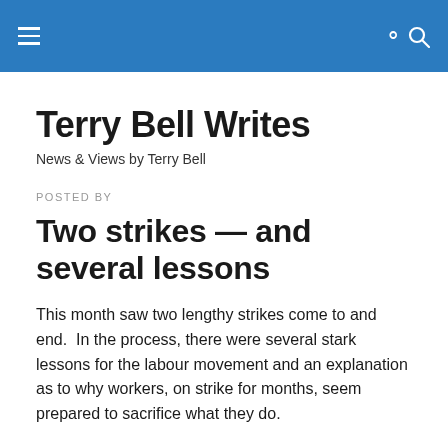Terry Bell Writes — navigation header with hamburger menu and search icon
Terry Bell Writes
News & Views by Terry Bell
POSTED BY
Two strikes — and several lessons
This month saw two lengthy strikes come to and end.  In the process, there were several stark lessons for the labour movement and an explanation as to why workers, on strike for months, seem prepared to sacrifice what they do.